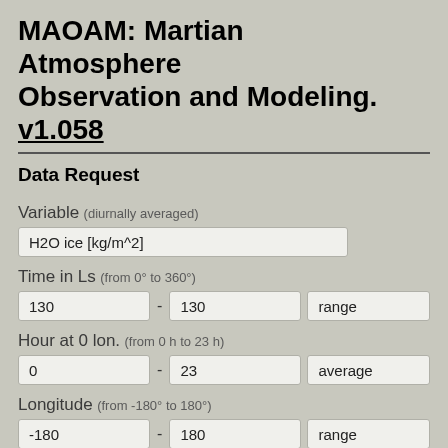MAOAM: Martian Atmosphere Observation and Modeling. v1.058
Data Request
Variable (diurnally averaged)
H2O ice [kg/m^2]
Time in Ls (from 0° to 360°)
130 - 130   range
Hour at 0 lon. (from 0 h to 23 h)
0 - 23   average
Longitude (from -180° to 180°)
-180 - 180   range
Latitude (from -90° to 90°)
-90 - 90   range